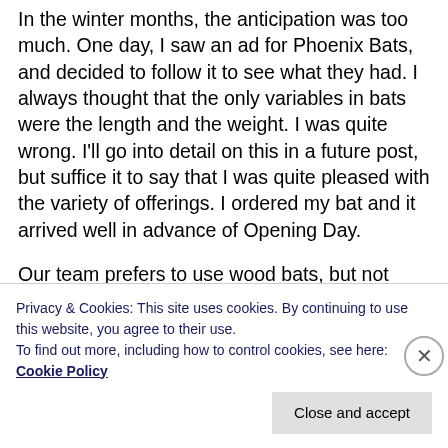In the winter months, the anticipation was too much. One day, I saw an ad for Phoenix Bats, and decided to follow it to see what they had. I always thought that the only variables in bats were the length and the weight. I was quite wrong. I'll go into detail on this in a future post, but suffice it to say that I was quite pleased with the variety of offerings. I ordered my bat and it arrived well in advance of Opening Day.
Our team prefers to use wood bats, but not every team wants to, and the league doesn't force anyone to. Since our opening day opponents chose not to limit themselves to wood bats, we were free to use
Privacy & Cookies: This site uses cookies. By continuing to use this website, you agree to their use.
To find out more, including how to control cookies, see here: Cookie Policy